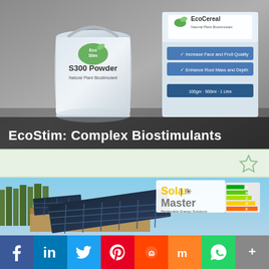[Figure (photo): EcoStim S300 Powder bucket and EcoCereal product packaging on grey gradient background]
EcoStim: Complex Biostimulants
[Figure (photo): Middle banner with light green background and star/bookmark icon on right side]
[Figure (photo): Solar panels on rooftop with trees in background, Solar Master branding overlay with energy rating graphic]
[Figure (infographic): Social sharing bar with Facebook, LinkedIn, Twitter, Pinterest, Reddit, Mix, WhatsApp, and More buttons]